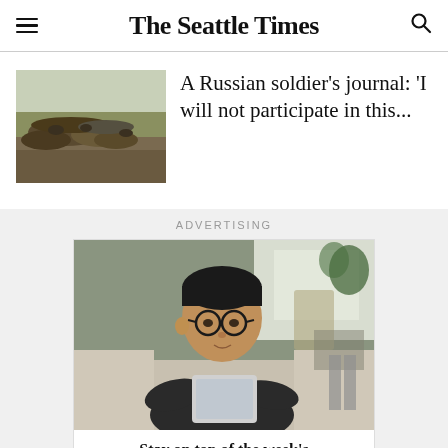The Seattle Times
[Figure (photo): Photo of dirt mounds or trenches in a grassy field]
A Russian soldier’s journal: ‘I will not participate in this...
ADVERTISING
[Figure (photo): Advertisement photo of a middle-aged Asian man wearing glasses and a black shirt, sitting on a couch holding a tablet]
Stay on top of the week’s news every Saturday.